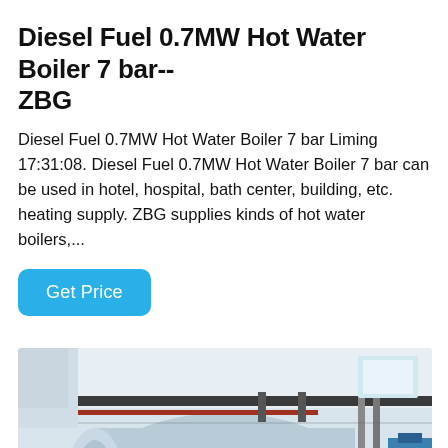[Figure (photo): Top banner photo strip showing industrial boiler equipment]
Diesel Fuel 0.7MW Hot Water Boiler 7 bar-- ZBG
Diesel Fuel 0.7MW Hot Water Boiler 7 bar Liming 17:31:08. Diesel Fuel 0.7MW Hot Water Boiler 7 bar can be used in hotel, hospital, bath center, building, etc. heating supply. ZBG supplies kinds of hot water boilers,...
[Figure (photo): Industrial hot water boiler in a facility, large cylindrical blue-grey boiler tank with pipes and equipment visible from a low angle]